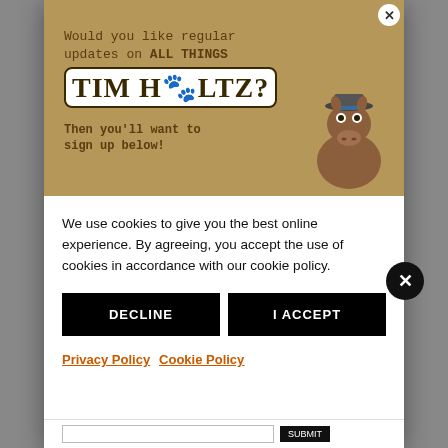[Figure (screenshot): A promotional banner image with tan/brown background showing text 'Would you like regular updates on ALL THINGS TIM HOLTZ?' with a cartoon horse wearing a hat in the bottom right corner.]
We use cookies to give you the best online experience. By agreeing, you accept the use of cookies in accordance with our cookie policy.
DECLINE
I ACCEPT
Privacy Policy  Cookie Policy